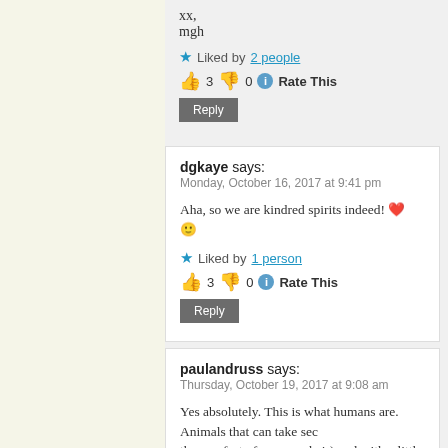xx,
mgh
★ Liked by 2 people
👍 3 👎 0 ℹ Rate This
Reply
dgkaye says:
Monday, October 16, 2017 at 9:41 pm
Aha, so we are kindred spirits indeed! ❤ 😐
★ Liked by 1 person
👍 3 👎 0 ℹ Rate This
Reply
paulandruss says:
Thursday, October 19, 2017 at 9:08 am
Yes absolutely. This is what humans are. Animals that can take sec... the comfort of our armchair) and with a little imagination make them... without the agony of having to go through them.